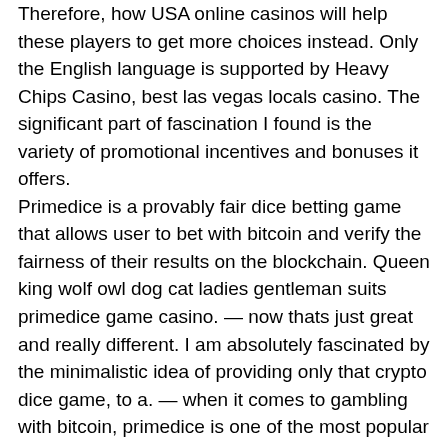Therefore, how USA online casinos will help these players to get more choices instead. Only the English language is supported by Heavy Chips Casino, best las vegas locals casino. The significant part of fascination I found is the variety of promotional incentives and bonuses it offers. Primedice is a provably fair dice betting game that allows user to bet with bitcoin and verify the fairness of their results on the blockchain. Queen king wolf owl dog cat ladies gentleman suits primedice game casino. — now thats just great and really different. I am absolutely fascinated by the minimalistic idea of providing only that crypto dice game, to a. — when it comes to gambling with bitcoin, primedice is one of the most popular bitcoin dice games that you can find online. Bitcoin dice game established 2013. Instant deposits &amp; withdrawals. Register instantly &amp; gamble bitcoin. — primedice is the